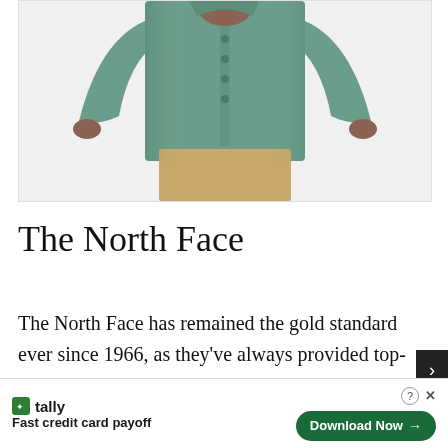[Figure (photo): Product photo of a person wearing a green long-sleeve button-up shirt from The North Face, with khaki/tan trousers. Only the torso and arms are visible, no face shown.]
The North Face
The North Face has remained the gold standard ever since 1966, as they've always provided top-tier apparel. The North Face are an extremely fashion-forward... cture
[Figure (screenshot): Advertisement banner for Tally app - Fast credit card payoff, with a Download Now button]